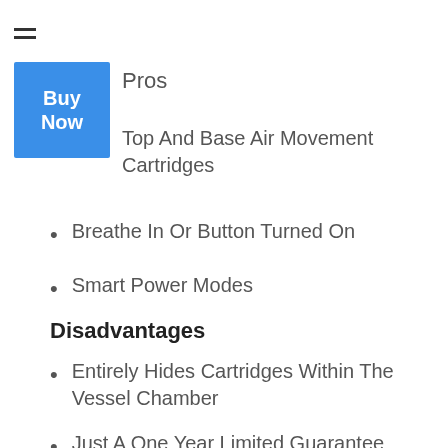Pros
Top And Base Air Movement Cartridges
Breathe In Or Button Turned On
Smart Power Modes
Disadvantages
Entirely Hides Cartridges Within The Vessel Chamber
Just A One Year Limited Guarantee